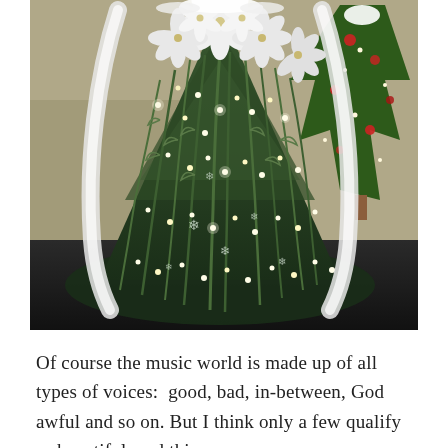[Figure (photo): A Christmas tree arrangement shaped like a dress or angel figure, decorated with white poinsettia flowers, white fabric/ribbon draping, evergreen branches with small twinkling lights and snowflake ornaments, displayed against a dark floor. In the background to the right is a traditional red and green decorated Christmas tree.]
Of course the music world is made up of all types of voices:  good, bad, in-between, God awful and so on. But I think only a few qualify as beautiful, and this